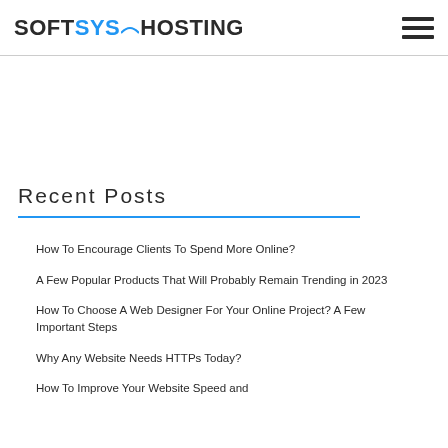[Figure (logo): SoftSys Hosting logo with blue 'Sys' text and swoosh graphic]
Recent Posts
How To Encourage Clients To Spend More Online?
A Few Popular Products That Will Probably Remain Trending in 2023
How To Choose A Web Designer For Your Online Project? A Few Important Steps
Why Any Website Needs HTTPs Today?
How To Improve Your Website Speed and